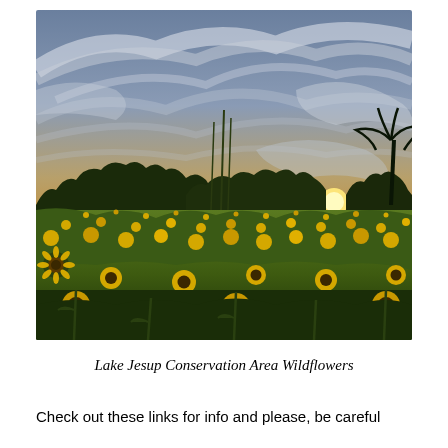[Figure (photo): Wide-angle fisheye photograph of Lake Jesup Conservation Area wildflowers. A vast field of yellow sunflowers fills the foreground and middle ground, with dark green trees silhouetted along the horizon. The sky above is dramatic with wispy cirrus clouds sweeping in an arc, and the sun is visible near the right horizon, casting warm golden light across the scene.]
Lake Jesup Conservation Area Wildflowers
Check out these links for info and please, be careful